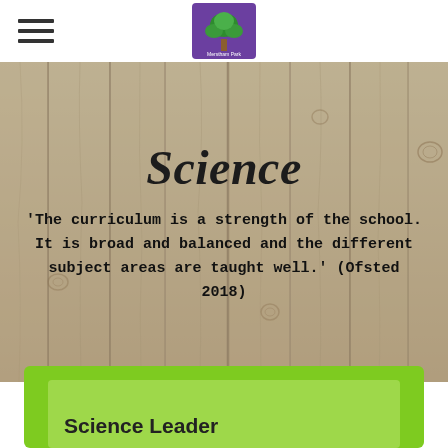Merstham Park School Primary School
Science
'The curriculum is a strength of the school. It is broad and balanced and the different subject areas are taught well.' (Ofsted 2018)
Science Leader